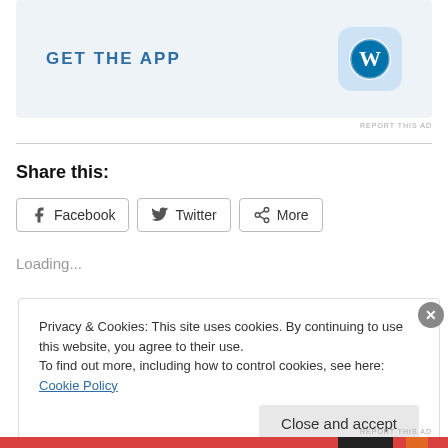[Figure (screenshot): GET THE APP advertisement banner with WordPress icon on light blue background]
REPORT THIS AD
Share this:
Facebook  Twitter  More
Loading...
Privacy & Cookies: This site uses cookies. By continuing to use this website, you agree to their use.
To find out more, including how to control cookies, see here: Cookie Policy
Close and accept